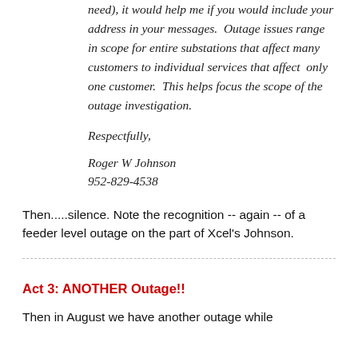need), it would help me if you would include your address in your messages.  Outage issues range in scope for entire substations that affect many customers to individual services that affect  only one customer.  This helps focus the scope of the outage investigation.
Respectfully,
Roger W Johnson
952-829-4538
Then.....silence. Note the recognition -- again -- of a feeder level outage on the part of Xcel's Johnson.
Act 3: ANOTHER Outage!!
Then in August we have another outage while